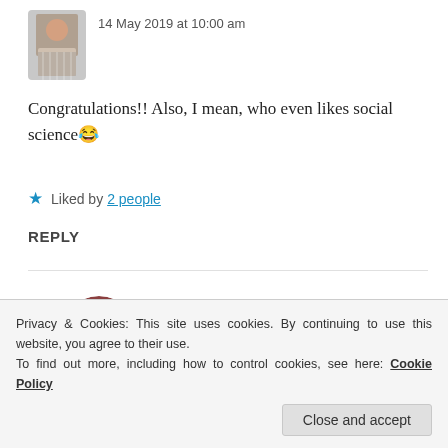[Figure (photo): Small square profile photo of a person in a patterned top]
14 May 2019 at 10:00 am
Congratulations!! Also, I mean, who even likes social science😂
★ Liked by 2 people
REPLY
[Figure (photo): Round profile photo of a person wearing a dark hat]
ZEALOUS HOMO SAPIENS
14 May 2019 at 10:24 am
Privacy & Cookies: This site uses cookies. By continuing to use this website, you agree to their use.
To find out more, including how to control cookies, see here: Cookie Policy
Close and accept